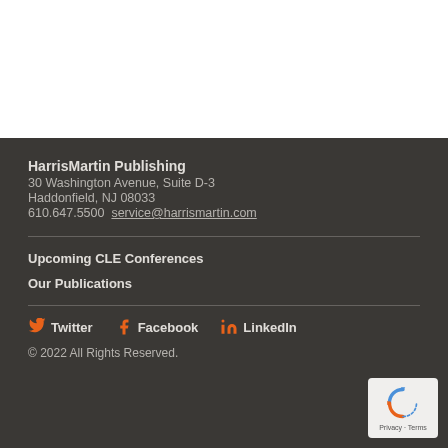HarrisMartin Publishing
30 Washington Avenue, Suite D-3
Haddonfield, NJ 08033
610.647.5500  service@harrismartin.com
Upcoming CLE Conferences
Our Publications
Twitter  Facebook  LinkedIn
© 2022 All Rights Reserved.